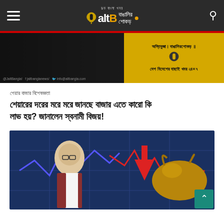altBangla - বাঙালির শোকড়
[Figure (photo): altBangla news website banner with logo and Bengali text, yellow and dark background]
শেয়ার বাজার বিশেষজ্ঞ
শেয়ারের দরে মরে মরে মরছে বাজার এতে কারো কি লাভ হয়? জানালেন স্বনামী বিজয়!
[Figure (photo): Stock market image showing a man in glasses with stock market chart arrows (red down arrow, blue zigzag line) and a bull statue on blue background]